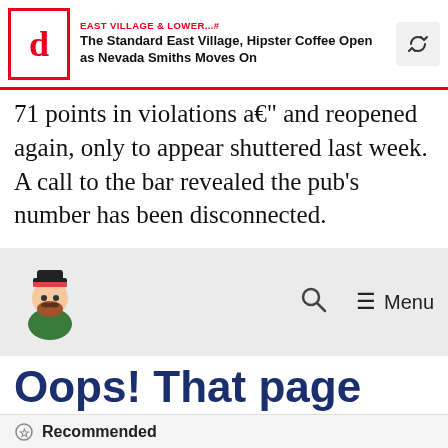EAST VILLAGE & LOWER...# The Standard East Village, Hipster Coffee Open as Nevada Smiths Moves On
71 points in violations a€” and reopened again, only to appear shuttered last week. A call to the bar revealed the pub's number has been disconnected.
[Figure (screenshot): Website navigation bar with pirate mascot logo, search icon, and Menu button on gray background]
Oops! That page can’t be found.
[Figure (infographic): Row of social share buttons: Twitter bird icon, Facebook f icon, envelope/email icon, and share/arrow icon]
Recommended